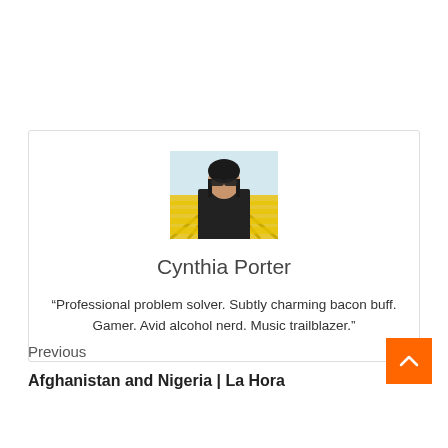[Figure (photo): Author card with profile photo of Cynthia Porter (woman with sunglasses in front of yellow flower field), name, and bio quote inside a bordered box]
Cynthia Porter
“Professional problem solver. Subtly charming bacon buff. Gamer. Avid alcohol nerd. Music trailblazer.”
Previous
Afghanistan and Nigeria | La Hora